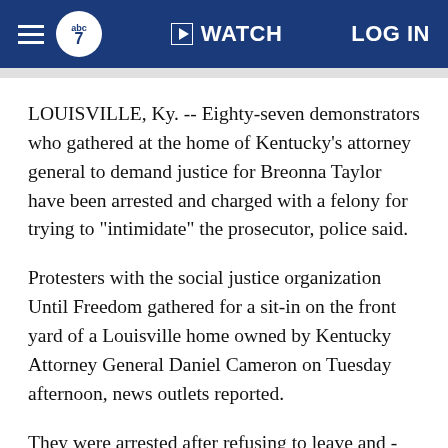abc7 | WATCH | LOG IN
LOUISVILLE, Ky. -- Eighty-seven demonstrators who gathered at the home of Kentucky's attorney general to demand justice for Breonna Taylor have been arrested and charged with a felony for trying to "intimidate" the prosecutor, police said.
Protesters with the social justice organization Until Freedom gathered for a sit-in on the front yard of a Louisville home owned by Kentucky Attorney General Daniel Cameron on Tuesday afternoon, news outlets reported.
They were arrested after refusing to leave and - being theoint totel before the contract to